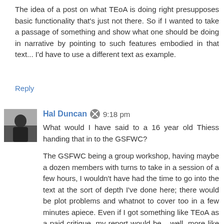The idea of a post on what TEoA is doing right presupposes basic functionality that's just not there. So if I wanted to take a passage of something and show what one should be doing in narrative by pointing to such features embodied in that text... I'd have to use a different text as example.
Reply
Hal Duncan  9:18 pm
What would I have said to a 16 year old Thiess handing that in to the GSFWC?
The GSFWC being a group workshop, having maybe a dozen members with turns to take in a session of a few hours, I wouldn't have had the time to go into the text at the sort of depth I've done here; there would be plot problems and whatnot to cover too in a few minutes apiece. Even if I got something like TEoA as a paid critique, my report would be... well, more like this, but again not quite as